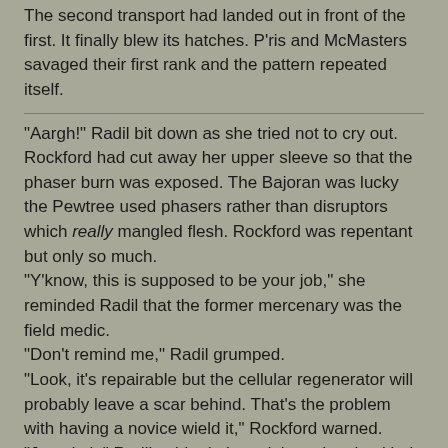The second transport had landed out in front of the first. It finally blew its hatches. P'ris and McMasters savaged their first rank and the pattern repeated itself.
"Aargh!" Radil bit down as she tried not to cry out.
Rockford had cut away her upper sleeve so that the phaser burn was exposed. The Bajoran was lucky the Pewtree used phasers rather than disruptors which really mangled flesh. Rockford was repentant but only so much.
"Y'know, this is supposed to be your job," she reminded Radil that the former mercenary was the field medic.
"Don't remind me," Radil grumped.
"Look, it's repairable but the cellular regenerator will probably leave a scar behind. That's the problem with having a novice wield it," Rockford warned.
"Just do it," Radil said grimly and then she chuckled, "Besides, Kort will think it's sexy. He really grooves to scars."